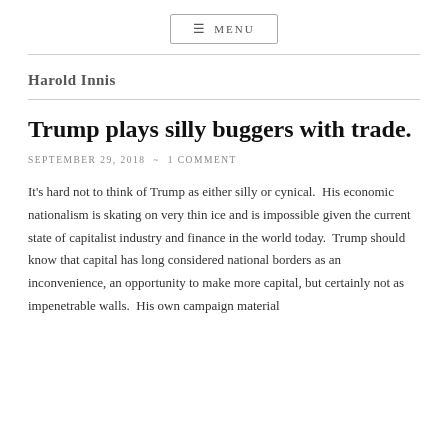☰ MENU
Harold Innis
Trump plays silly buggers with trade.
SEPTEMBER 29, 2018 ~ 1 COMMENT
It's hard not to think of Trump as either silly or cynical.  His economic nationalism is skating on very thin ice and is impossible given the current state of capitalist industry and finance in the world today.  Trump should know that capital has long considered national borders as an inconvenience, an opportunity to make more capital, but certainly not as impenetrable walls.  His own campaign material